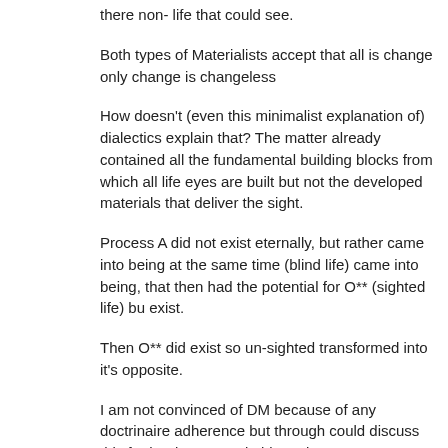there non- life that could see.
Both types of Materialists accept that all is change only change is changeless
How doesn't (even this minimalist explanation of) dialectics explain that? The matter already contained all the fundamental building blocks from which all life eyes are built but not the developed materials that deliver the sight.
Process A did not exist eternally, but rather came into being at the same time (blind life) came into being, that then had the potential for O** (sighted life) bu exist.
Then O** did exist so un-sighted transformed into it's opposite.
I am not convinced of DM because of any doctrinaire adherence but through could discuss this further in more suitable topics, or panexistentialism in anot but no-one has so far requested this and I'm not sure that it isn't just a time c diversion away from the international questions this site is known for discussi
A communist Party can't change into the ruling party because the ruling party exists? Thus,the Kuomintang rule forever and that is all there is to it? History that's not correct.
Rosa can roam around the interwebs trying to convince others to discard wha